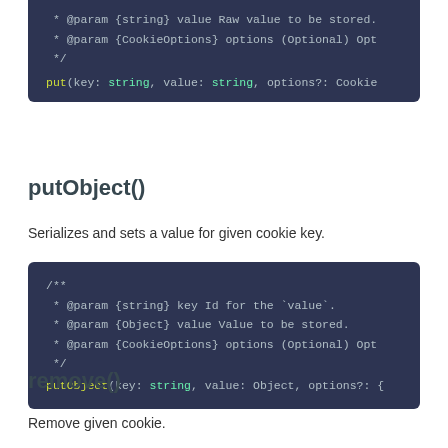[Figure (screenshot): Code block showing JSDoc comments and put() function signature with parameters key: string, value: string, options?: CookieOptions]
putObject()
Serializes and sets a value for given cookie key.
[Figure (screenshot): Code block showing JSDoc comments for putObject function with params {string} key, {Object} value, {CookieOptions} options and putObject(key: string, value: Object, options?: signature]
remove()
Remove given cookie.